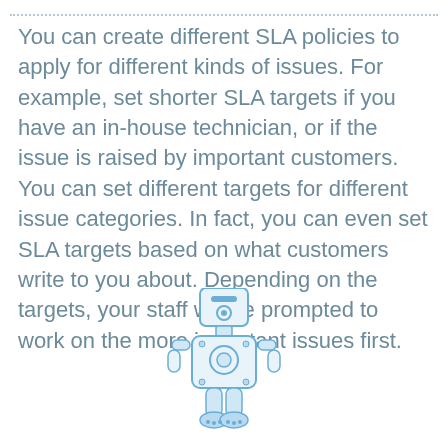You can create different SLA policies to apply for different kinds of issues. For example, set shorter SLA targets if you have an in-house technician, or if the issue is raised by important customers. You can set different targets for different issue categories. In fact, you can even set SLA targets based on what customers write to you about. Depending on the targets, your staff will be prompted to work on the more important issues first.
[Figure (illustration): A cartoon robot illustration, showing the upper torso and head of a blue and white robot with segmented arms, centered at the bottom of the page.]